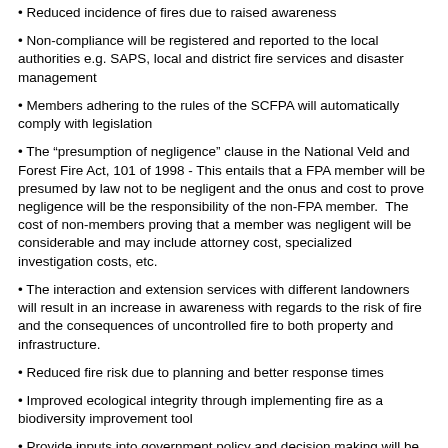Reduced incidence of fires due to raised awareness
Non-compliance will be registered and reported to the local authorities e.g. SAPS, local and district fire services and disaster management
Members adhering to the rules of the SCFPA will automatically comply with legislation
The “presumption of negligence” clause in the National Veld and Forest Fire Act, 101 of 1998 - This entails that a FPA member will be presumed by law not to be negligent and the onus and cost to prove negligence will be the responsibility of the non-FPA member.  The cost of non-members proving that a member was negligent will be considerable and may include attorney cost, specialized investigation costs, etc.
The interaction and extension services with different landowners will result in an increase in awareness with regards to the risk of fire and the consequences of uncontrolled fire to both property and infrastructure.
Reduced fire risk due to planning and better response times
Improved ecological integrity through implementing fire as a biodiversity improvement tool
Provide inputs into government policy and decision making will be